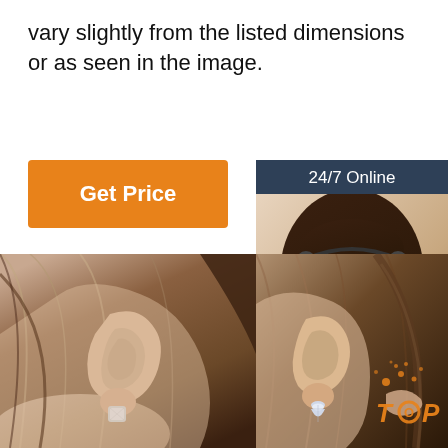vary slightly from the listed dimensions or as seen in the image.
[Figure (other): Orange 'Get Price' button]
[Figure (other): Customer service sidebar with '24/7 Online' header, photo of woman with headset, 'Click here for free chat!' text, and orange 'QUOTATION' button]
[Figure (photo): Close-up photo of woman's ear wearing a small crystal/diamond stud earring, viewed from the side showing hair]
[Figure (photo): Close-up photo of woman's ear wearing a teardrop crystal earring from behind, with 'TOP' orange watermark logo]